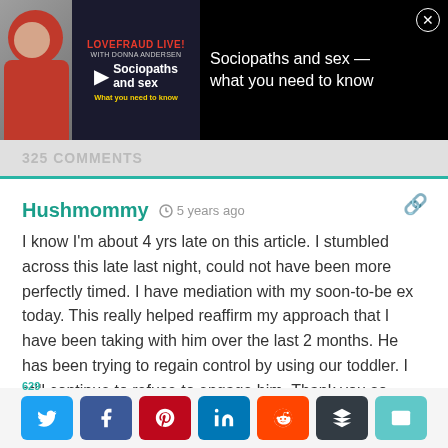[Figure (screenshot): Video ad banner for 'Lovefraud Live! with Donna Andersen – Sociopaths and sex: What you need to know']
325 COMMENTS
Hushmommy  🕐  5 years ago
I know I'm about 4 yrs late on this article. I stumbled across this late last night, could not have been more perfectly timed. I have mediation with my soon-to-be ex today. This really helped reaffirm my approach that I have been taking with him over the last 2 months. He has been trying to regain control by using our toddler. I still continue to refuse to engage him. Thank you so much for posting this. And I am so very